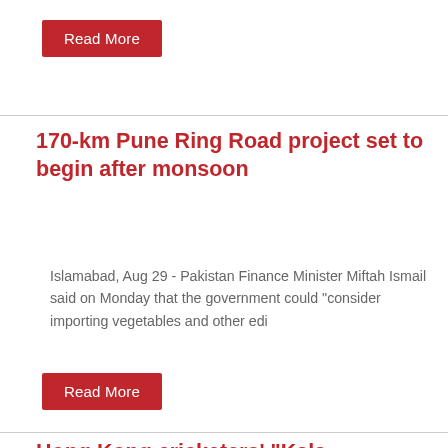Read More
170-km Pune Ring Road project set to begin after monsoon
Islamabad, Aug 29 - Pakistan Finance Minister Miftah Ismail said on Monday that the government could "consider importing vegetables and other edi
Read More
Hong Kong cricketers' "Kala Chashma" celebration continues to trend even 5 days after win over UAE
Islamabad, Aug 29 - Pakistan Finance Minister